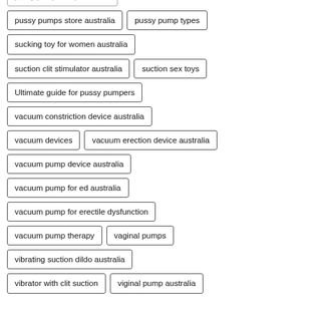pussy pumps store australia
pussy pump types
sucking toy for women australia
suction clit stimulator australia
suction sex toys
Ultimate guide for pussy pumpers
vacuum constriction device australia
vacuum devices
vacuum erection device australia
vacuum pump device australia
vacuum pump for ed australia
vacuum pump for erectile dysfunction
vacuum pump therapy
vaginal pumps
vibrating suction dildo australia
vibrator with clit suction
viginal pump australia